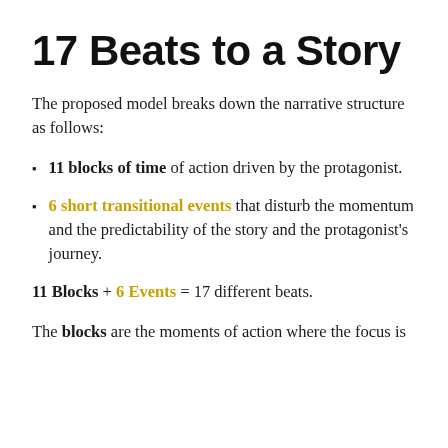17 Beats to a Story
The proposed model breaks down the narrative structure as follows:
11 blocks of time of action driven by the protagonist.
6 short transitional events that disturb the momentum and the predictability of the story and the protagonist's journey.
11 Blocks + 6 Events = 17 different beats.
The blocks are the moments of action where the focus is